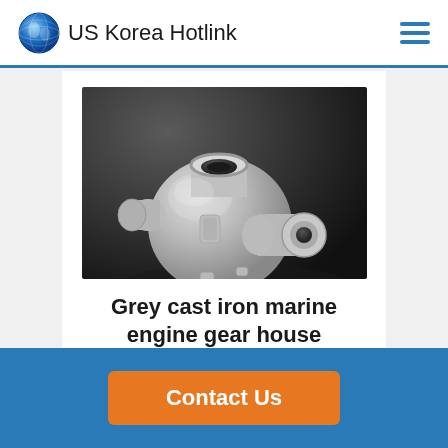US Korea Hotlink
[Figure (photo): 3D render of a grey cast iron marine engine gear house component — a metallic silver casting with cylindrical openings, flanges, and bolt holes]
Grey cast iron marine engine gear house
Contact Us